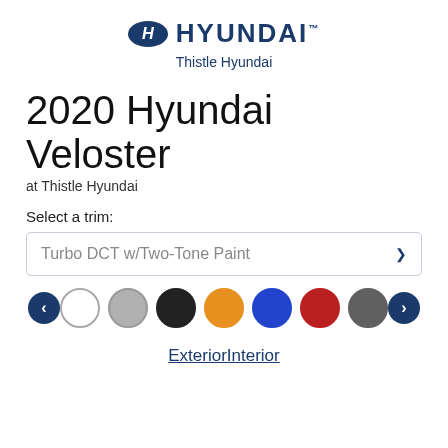[Figure (logo): Hyundai logo with the H emblem and HYUNDAI brand name in dark blue]
Thistle Hyundai
2020 Hyundai Veloster
at Thistle Hyundai
Select a trim:
Turbo DCT w/Two-Tone Paint
[Figure (infographic): Color swatch selector row with navigation arrows and 7 color circles: white, silver, black, orange, blue, red, dark gray]
ExteriorInterior